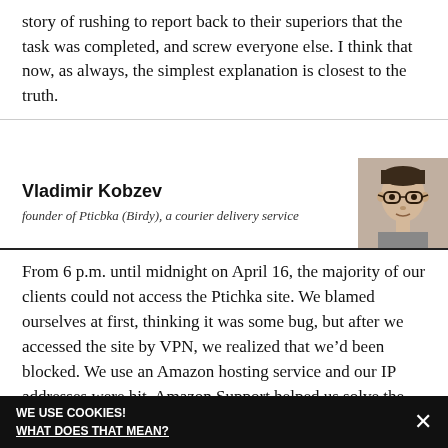story of rushing to report back to their superiors that the task was completed, and screw everyone else. I think that now, as always, the simplest explanation is closest to the truth.
Vladimir Kobzev
founder of Pticbka (Birdy), a courier delivery service
[Figure (photo): Headshot photo of Vladimir Kobzev, a young man with glasses and dark hair]
From 6 p.m. until midnight on April 16, the majority of our clients could not access the Ptichka site. We blamed ourselves at first, thinking it was some bug, but after we accessed the site by VPN, we realized that we’d been blocked. We use an Amazon hosting service and our IP addresses were hit. Amazon Support helped us solve the issue by changing the IP address. However, at 3 p.m. on April 17 [Roskomnadzor] blocked another subnet of IP
WE USE COOKIES!
WHAT DOES THAT MEAN?